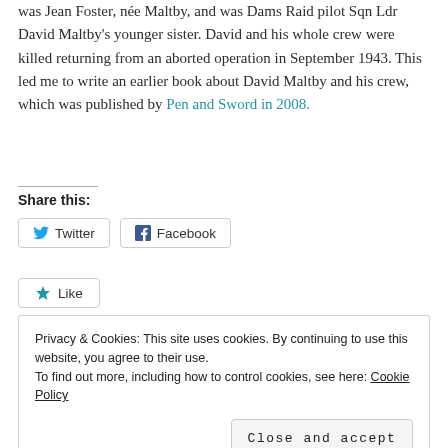was Jean Foster, née Maltby, and was Dams Raid pilot Sqn Ldr David Maltby's younger sister. David and his whole crew were killed returning from an aborted operation in September 1943. This led me to write an earlier book about David Maltby and his crew, which was published by Pen and Sword in 2008.
Share this:
Twitter
Facebook
Like
Privacy & Cookies: This site uses cookies. By continuing to use this website, you agree to their use.
To find out more, including how to control cookies, see here: Cookie Policy
Close and accept